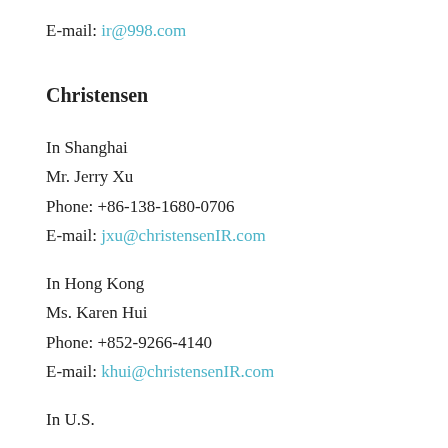E-mail: ir@998.com
Christensen
In Shanghai
Mr. Jerry Xu
Phone: +86-138-1680-0706
E-mail: jxu@christensenIR.com
In Hong Kong
Ms. Karen Hui
Phone: +852-9266-4140
E-mail: khui@christensenIR.com
In U.S.